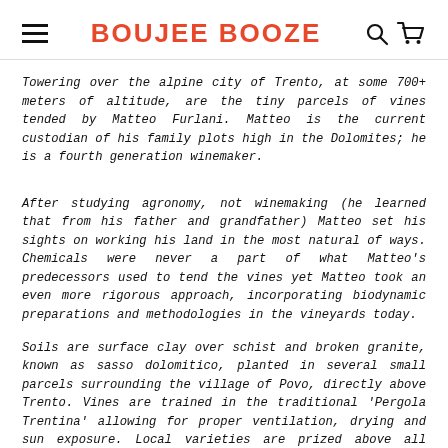BOUJEE BOOZE
Towering over the alpine city of Trento, at some 700+ meters of altitude, are the tiny parcels of vines tended by Matteo Furlani. Matteo is the current custodian of his family plots high in the Dolomites; he is a fourth generation winemaker.
After studying agronomy, not winemaking (he learned that from his father and grandfather) Matteo set his sights on working his land in the most natural of ways. Chemicals were never a part of what Matteo's predecessors used to tend the vines yet Matteo took an even more rigorous approach, incorporating biodynamic preparations and methodologies in the vineyards today.
Soils are surface clay over schist and broken granite, known as sasso dolomitico, planted in several small parcels surrounding the village of Povo, directly above Trento. Vines are trained in the traditional 'Pergola Trentina' allowing for proper ventilation, drying and sun exposure. Local varieties are prized above all though there is a small planting of Pinot Noir and Chardonnay used to make the "Metodo Interrotto" sparkling